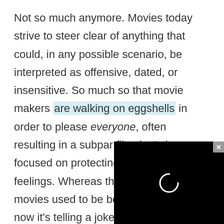Not so much anymore. Movies today strive to steer clear of anything that could, in any possible scenario, be interpreted as offensive, dated, or insensitive. So much so that movie makers are walking on eggshells in order to please everyone, often resulting in a subpar film that's hyper-focused on protecting the world's feelings. Whereas the greatest sin for movies used to be boring the audience, now it's telling a joke or expressing a view that will anybody.
[Figure (other): A black video player overlay with a loading spinner (circle outline) in the center, and a grey close (x) button in the top-right corner.]